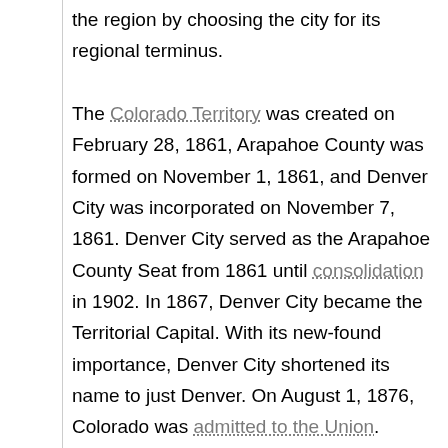the region by choosing the city for its regional terminus. The Colorado Territory was created on February 28, 1861, Arapahoe County was formed on November 1, 1861, and Denver City was incorporated on November 7, 1861. Denver City served as the Arapahoe County Seat from 1861 until consolidation in 1902. In 1867, Denver City became the Territorial Capital. With its new-found importance, Denver City shortened its name to just Denver. On August 1, 1876, Colorado was admitted to the Union.
Between 1880 and 1895 the city experienced a huge rise in corruption, as crime bosses, such as Soapy Smith, worked side by side with elected officials and the police to control elections